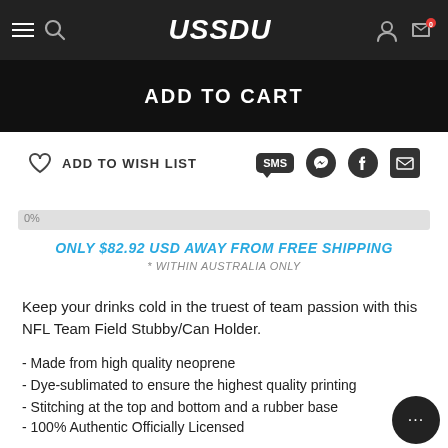USSDU
ADD TO CART
ADD TO WISH LIST
ONLY $82.92 USD AWAY FROM FREE SHIPPING
* WITHIN AUSTRALIA ONLY
Keep your drinks cold in the truest of team passion with this NFL Team Field Stubby/Can Holder.
- Made from high quality neoprene
- Dye-sublimated to ensure the highest quality printing
- Stitching at the top and bottom and a rubber base
- 100% Authentic Officially Licensed